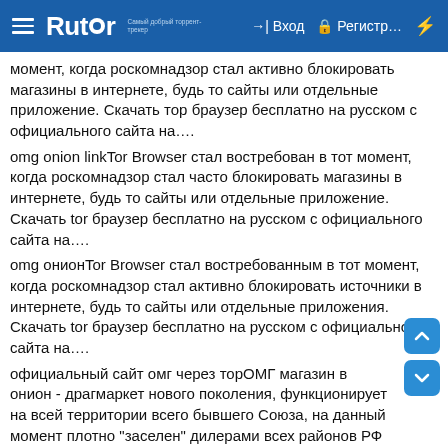Rutor — Вход — Регистр...
момент, когда роскомнадзор стал активно блокировать магазины в интернете, будь то сайты или отдельные приложение. Скачать тор браузер бесплатно на русском с официального сайта на….
omg onion linkTor Browser стал востребован в тот момент, когда роскомнадзор стал часто блокировать магазины в интернете, будь то сайты или отдельные приложение. Скачать tor браузер бесплатно на русском с официального сайта на….
omg онионTor Browser стал востребованным в тот момент, когда роскомнадзор стал активно блокировать источники в интернете, будь то сайты или отдельные приложения. Скачать tor браузер бесплатно на русском с официального сайта на….
официальный сайт омг через торОМГ магазин в онион - драгмаркет нового поколения, функционирует на всей территории всего бывшего Союза, на данный момент плотно "заселен" дилерами всех районов РФ и стран СНГ, функционирует 24 часа в….